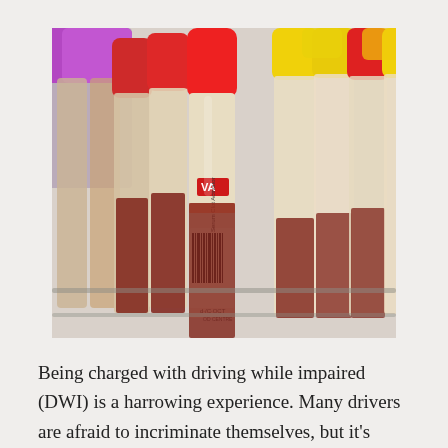[Figure (photo): Close-up photograph of multiple blood collection vials/test tubes with colorful caps (red, yellow, purple) arranged in rows, with labels and barcodes visible. One tube shows a red 'VA' label. The tubes contain dark red blood samples.]
Being charged with driving while impaired (DWI) is a harrowing experience. Many drivers are afraid to incriminate themselves, but it's important to understand your rights. If you are